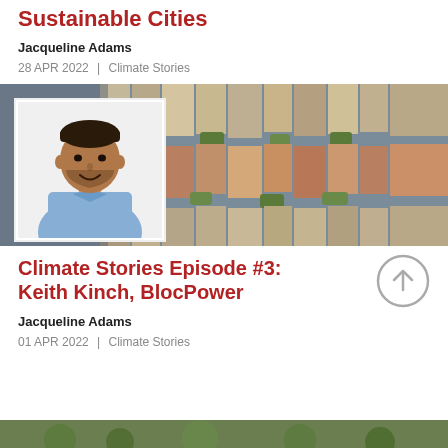Sustainable Cities
Jacqueline Adams
28 APR 2022  |  Climate Stories
[Figure (photo): Composite image: aerial view of colorful urban row houses/buildings, overlaid in top-left corner with a portrait photo of a smiling man in a light blue shirt]
Climate Stories Episode #3: Keith Kinch, BlocPower
Jacqueline Adams
01 APR 2022  |  Climate Stories
[Figure (photo): Partial green/nature image at very bottom of page, partially cut off]